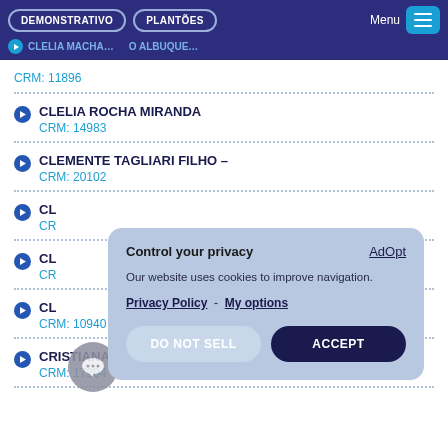DEMONSTRATIVO | PLANTÕES | Menu | CLELIA MACHA... O ALBUQUE...
CRM: 11896
CLELIA ROCHA MIRANDA
CRM: 14983
CLEMENTE TAGLIARI FILHO –
CRM: 20102
CL...
CR...
CL...
CR...
CL...
CRM: 10940
CRISTIANA ISABELLA DE ALMEIDA BRAZ
CRM: 17204
[Figure (screenshot): Privacy consent popup overlay with title 'Control your privacy', AdOpt branding, cookie notice text, Privacy Policy and My options links, DO NOT SELL and ACCEPT buttons]